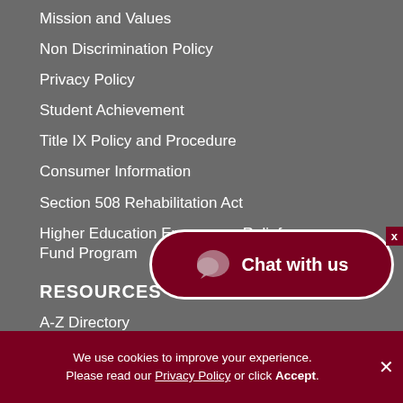Mission and Values
Non Discrimination Policy
Privacy Policy
Student Achievement
Title IX Policy and Procedure
Consumer Information
Section 508 Rehabilitation Act
Higher Education Emergency Relief Fund Program
RESOURCES
A-Z Directory
Virtual Tour
e-Market
[Figure (other): Chat with us button with speech bubble icon, dark red rounded rectangle with white border]
We use cookies to improve your experience. Please read our Privacy Policy or click Accept.